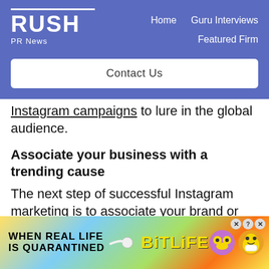RUSH PR News — Home | Guru Interviews | Featured Firm | Contact Us
Instagram campaigns to lure in the global audience.
Associate your business with a trending cause
The next step of successful Instagram marketing is to associate your brand or your activity with a
[Figure (screenshot): BitLife advertisement banner with rainbow and quarantine theme: 'WHEN REAL LIFE IS QUARANTINED' with BitLife logo and emoji characters]